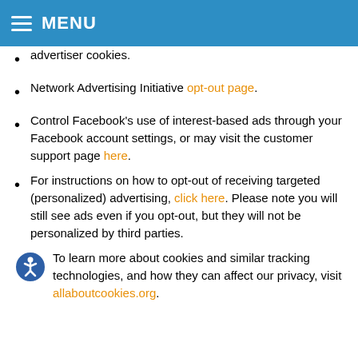MENU
advertiser cookies.
Network Advertising Initiative opt-out page.
Control Facebook’s use of interest-based ads through your Facebook account settings, or may visit the customer support page here.
For instructions on how to opt-out of receiving targeted (personalized) advertising, click here. Please note you will still see ads even if you opt-out, but they will not be personalized by third parties.
To learn more about cookies and similar tracking technologies, and how they can affect our privacy, visit allaboutcookies.org.